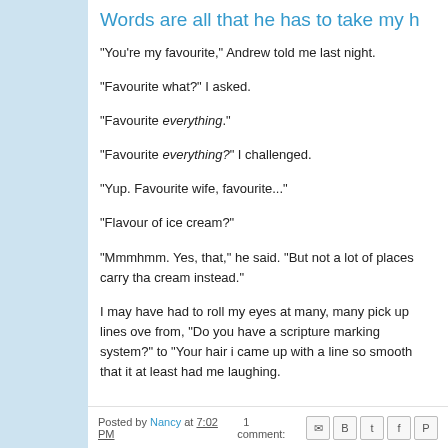Words are all that he has to take my h
"You're my favourite," Andrew told me last night.
"Favourite what?" I asked.
"Favourite everything."
"Favourite everything?" I challenged.
"Yup. Favourite wife, favourite..."
"Flavour of ice cream?"
"Mmmhmm. Yes, that," he said. "But not a lot of places carry tha cream instead."
I may have had to roll my eyes at many, many pick up lines ove from, "Do you have a scripture marking system?" to "Your hair i came up with a line so smooth that it at least had me laughing.
Posted by Nancy at 7:02 PM   1 comment: